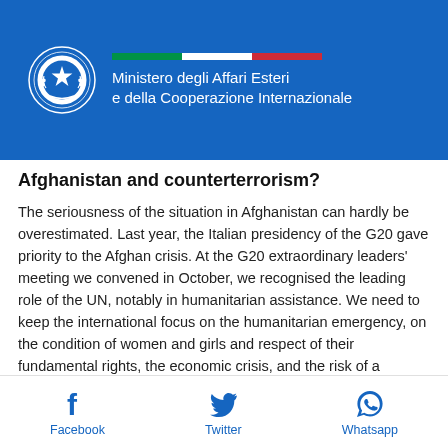Ministero degli Affari Esteri e della Cooperazione Internazionale
Afghanistan and counterterrorism?
The seriousness of the situation in Afghanistan can hardly be overestimated. Last year, the Italian presidency of the G20 gave priority to the Afghan crisis. At the G20 extraordinary leaders' meeting we convened in October, we recognised the leading role of the UN, notably in humanitarian assistance. We need to keep the international focus on the humanitarian emergency, on the condition of women and girls and respect of their fundamental rights, the economic crisis, and the risk of a resurgence of terrorist threats and illicit trafficking, with possible spillovers in
Facebook  Twitter  Whatsapp